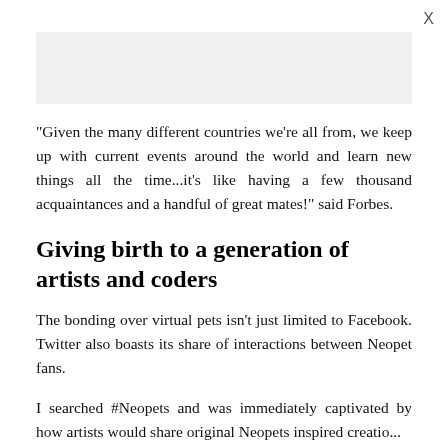[Figure (other): Gray advertisement placeholder rectangle]
"Given the many different countries we're all from, we keep up with current events around the world and learn new things all the time...it's like having a few thousand acquaintances and a handful of great mates!" said Forbes.
Giving birth to a generation of artists and coders
The bonding over virtual pets isn't just limited to Facebook. Twitter also boasts its share of interactions between Neopet fans.
I searched #Neopets and was immediately captivated by how artists would share original Neopets inspired creatio...